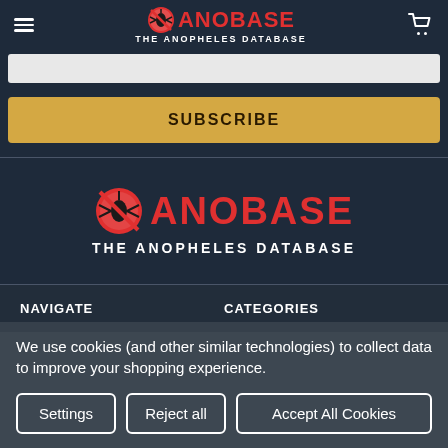ANOBASE — THE ANOPHELES DATABASE
SUBSCRIBE
[Figure (logo): ANOBASE - The Anopheles Database logo with mosquito icon, large centered version]
NAVIGATE
CATEGORIES
We use cookies (and other similar technologies) to collect data to improve your shopping experience.
Settings | Reject all | Accept All Cookies